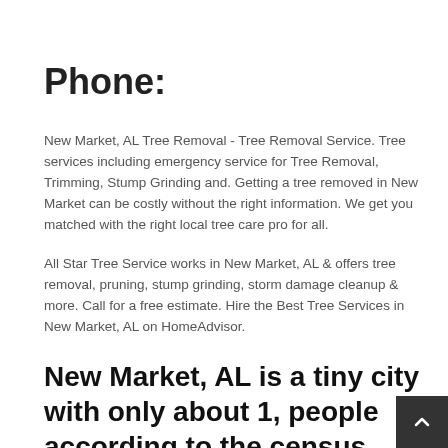Phone:
New Market, AL Tree Removal - Tree Removal Service. Tree services including emergency service for Tree Removal, Trimming, Stump Grinding and. Getting a tree removed in New Market can be costly without the right information. We get you matched with the right local tree care pro for all.
All Star Tree Service works in New Market, AL & offers tree removal, pruning, stump grinding, storm damage cleanup & more. Call for a free estimate. Hire the Best Tree Services in New Market, AL on HomeAdvisor.
New Market, AL is a tiny city with only about 1, people according to the census.